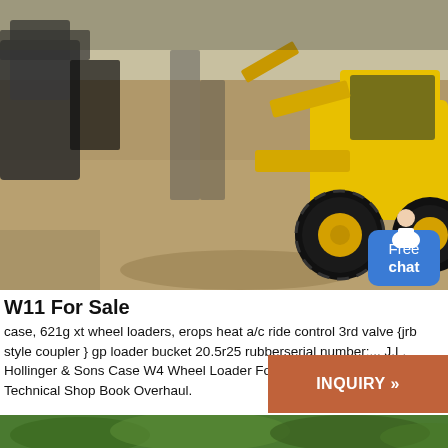[Figure (photo): Construction yard with yellow wheel loaders/excavators parked on dirt ground, industrial equipment visible]
W11 For Sale
case, 621g xt wheel loaders, erops heat a/c ride control 3rd valve {jrb style coupler } gp loader bucket 20.5r25 rubberserial number:... J.L. Hollinger & Sons Case W4 Wheel Loader Forklift Service Repair Manual Technical Shop Book Overhaul.
[Figure (photo): Green foliage/trees visible at bottom of page]
INQUIRY »